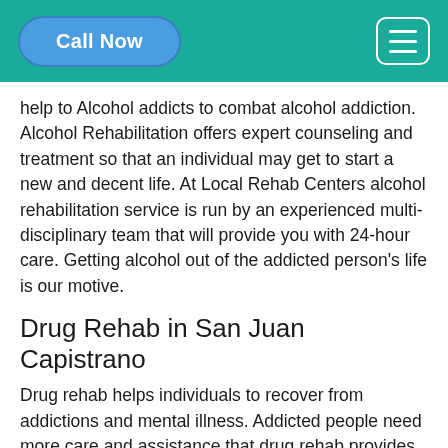Call Now
help to Alcohol addicts to combat alcohol addiction. Alcohol Rehabilitation offers expert counseling and treatment so that an individual may get to start a new and decent life. At Local Rehab Centers alcohol rehabilitation service is run by an experienced multi-disciplinary team that will provide you with 24-hour care. Getting alcohol out of the addicted person’s life is our motive.
Drug Rehab in San Juan Capistrano
Drug rehab helps individuals to recover from addictions and mental illness. Addicted people need more care and assistance that drug rehab provides, so that they may start a healthy life. The professionals of Local Rehab